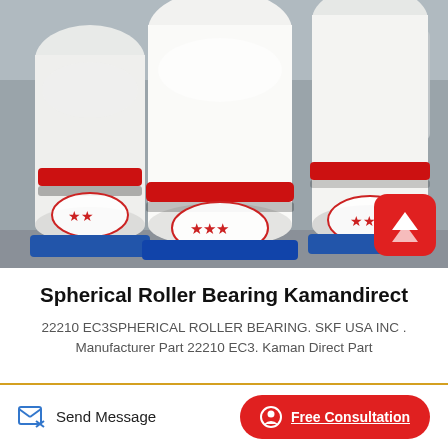[Figure (photo): Industrial spherical roller bearing machines wrapped in white plastic/protective covering, showing red bands and star badges, stored in a warehouse. Multiple large cylindrical machines visible, mounted on blue bases.]
Spherical Roller Bearing Kamandirect
22210 EC3SPHERICAL ROLLER BEARING. SKF USA INC . Manufacturer Part 22210 EC3. Kaman Direct Part
Send Message
Free Consultation